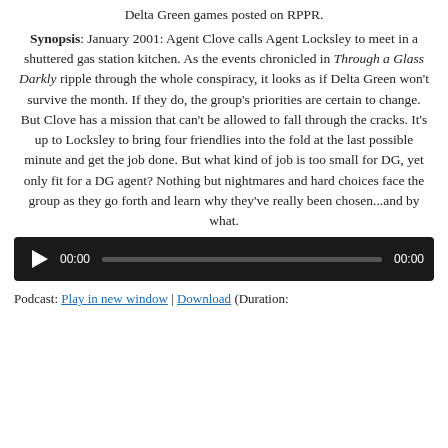Delta Green games posted on RPPR.
Synopsis: January 2001: Agent Clove calls Agent Locksley to meet in a shuttered gas station kitchen. As the events chronicled in Through a Glass Darkly ripple through the whole conspiracy, it looks as if Delta Green won't survive the month. If they do, the group's priorities are certain to change. But Clove has a mission that can't be allowed to fall through the cracks. It's up to Locksley to bring four friendlies into the fold at the last possible minute and get the job done. But what kind of job is too small for DG, yet only fit for a DG agent? Nothing but nightmares and hard choices face the group as they go forth and learn why they've really been chosen...and by what.
[Figure (other): Audio player bar with play button, time display 00:00, progress bar, and end time 00:00]
Podcast: Play in new window | Download (Duration: